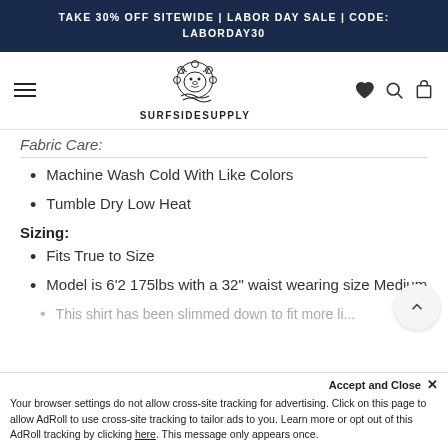TAKE 30% OFF SITEWIDE | LABOR DAY SALE | CODE: LABORDAY30
[Figure (logo): Surfside Supply logo with wave and lion graphic, text SURFSIDESUPPLY below]
Fabric Care:
Machine Wash Cold With Like Colors
Tumble Dry Low Heat
Sizing:
Fits True to Size
Model is 6'2 175lbs with a 32" waist wearing size Medium
This shirt has been slimmed down to fit more li...
Accept and Close ×
Your browser settings do not allow cross-site tracking for advertising. Click on this page to allow AdRoll to use cross-site tracking to tailor ads to you. Learn more or opt out of this AdRoll tracking by clicking here. This message only appears once.